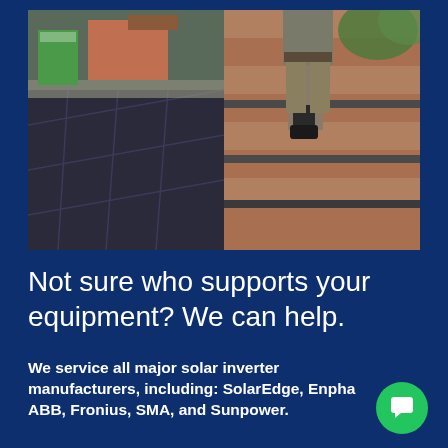[Figure (photo): A person installing solar panels on a roof. The left side shows dark photovoltaic solar panels being laid on a residential roof. The right side shows a worker's legs and shoes walking on a tiled roof with metal mounting rails. Trees and a neighborhood are visible in the background.]
Not sure who supports your equipment? We can help.
We service all major solar inverter manufacturers, including: SolarEdge, Enphase, ABB, Fronius, SMA, and Sunpower.